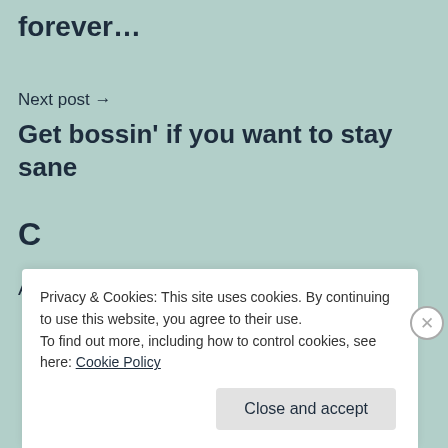forever…
Next post →
Get bossin' if you want to stay sane
Privacy & Cookies: This site uses cookies. By continuing to use this website, you agree to their use.
To find out more, including how to control cookies, see here: Cookie Policy
Close and accept